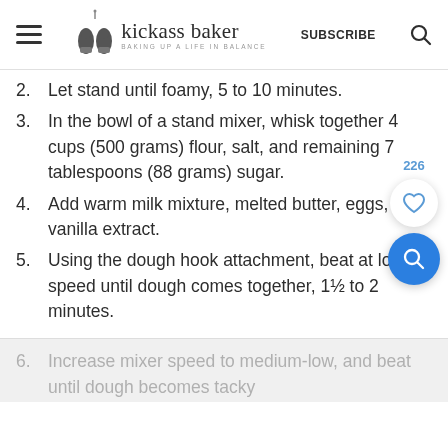kickass baker — BAKING UP A LIFE IN BALANCE — SUBSCRIBE
2. Let stand until foamy, 5 to 10 minutes.
3. In the bowl of a stand mixer, whisk together 4 cups (500 grams) flour, salt, and remaining 7 tablespoons (88 grams) sugar.
4. Add warm milk mixture, melted butter, eggs, and vanilla extract.
5. Using the dough hook attachment, beat at low speed until dough comes together, 1½ to 2 minutes.
6. Increase mixer speed to medium-low, and beat until dough becomes tacky